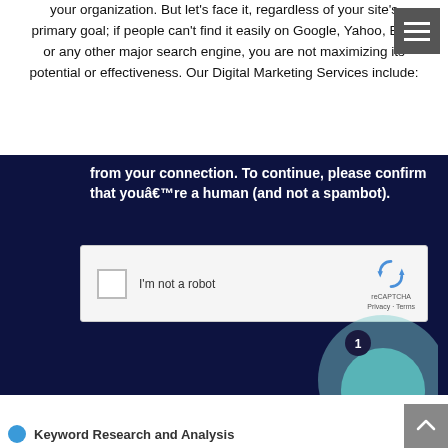your organization. But let's face it, regardless of your site's primary goal; if people can't find it easily on Google, Yahoo, Bing or any other major search engine, you are not maximizing its potential or effectiveness. Our Digital Marketing Services include:
[Figure (screenshot): Dark navy background CAPTCHA verification screenshot showing text 'from your connection. To continue, please confirm that youâ€™re a human (and not a spambot).' with a reCAPTCHA widget checkbox labeled 'I'm not a robot' and reCAPTCHA branding, plus teal circle notification badge overlay]
Keyword Research and Analysis